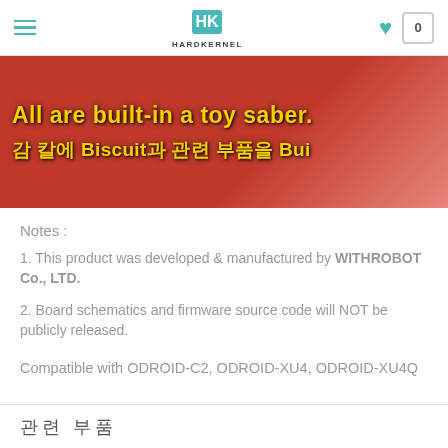HARDKERNEL
[Figure (photo): Banner image with red background showing text: 'All are built-in a toy saber.' and Korean text '감 칼에 Biscuit과 관련 부품을 Bui' in bold yellow font]
Notes :
1. This product was developed & manufactured by WITHROBOT Co., LTD.
2. Board schematics and firmware source code will NOT be publicly released.
Compatible with ODROID-C2, ODROID-XU4, ODROID-XU4Q
관련 부품